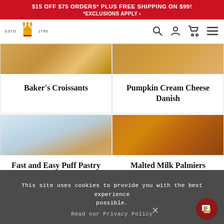$15 OFF $75 ORDERS* PLUS FREE SHIPPING ON $99! *EXCLUSIONS APPLY >
[Figure (logo): King Arthur Baking Company logo - wheat crown, ESTD 1790]
[Figure (photo): Croissants photo (top portion, cropped)]
Baker's Croissants
[Figure (photo): Pumpkin Cream Cheese Danish photo (top portion, cropped)]
Pumpkin Cream Cheese Danish
[Figure (photo): Fast and Easy Puff Pastry photo - hands rolling dough with wheat grain]
[Figure (photo): Malted Milk Palmiers photo - swirled pastries close up]
This site uses cookies to provide you with the best experience possible.
Read our Privacy Policy
Fast and Easy Puff Pastry
Malted Milk Palmiers